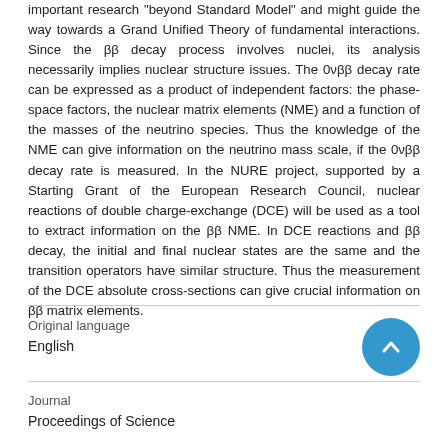important research "beyond Standard Model" and might guide the way towards a Grand Unified Theory of fundamental interactions. Since the ββ decay process involves nuclei, its analysis necessarily implies nuclear structure issues. The 0νββ decay rate can be expressed as a product of independent factors: the phase-space factors, the nuclear matrix elements (NME) and a function of the masses of the neutrino species. Thus the knowledge of the NME can give information on the neutrino mass scale, if the 0νββ decay rate is measured. In the NURE project, supported by a Starting Grant of the European Research Council, nuclear reactions of double charge-exchange (DCE) will be used as a tool to extract information on the ββ NME. In DCE reactions and ββ decay, the initial and final nuclear states are the same and the transition operators have similar structure. Thus the measurement of the DCE absolute cross-sections can give crucial information on ββ matrix elements.
Original language
English
Journal
Proceedings of Science